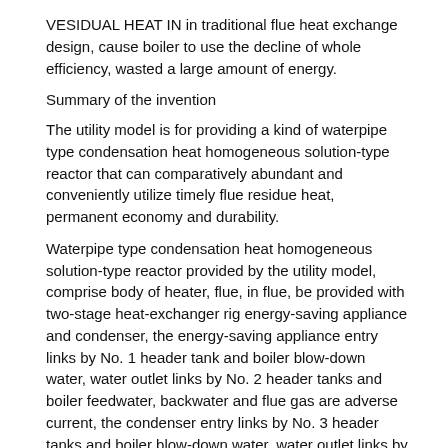VESIDUAL HEAT IN in traditional flue heat exchange design, cause boiler to use the decline of whole efficiency, wasted a large amount of energy.
Summary of the invention
The utility model is for providing a kind of waterpipe type condensation heat homogeneous solution-type reactor that can comparatively abundant and conveniently utilize timely flue residue heat, permanent economy and durability.
Waterpipe type condensation heat homogeneous solution-type reactor provided by the utility model, comprise body of heater, flue, in flue, be provided with two-stage heat-exchanger rig energy-saving appliance and condenser, the energy-saving appliance entry links by No. 1 header tank and boiler blow-down water, water outlet links by No. 2 header tanks and boiler feedwater, backwater and flue gas are adverse current, the condenser entry links by No. 3 header tanks and boiler blow-down water, water outlet links by No. 4 header tanks and boiler feedwater, backwater and flue gas are the adverse current state, and described condenser is comprised of high frequency